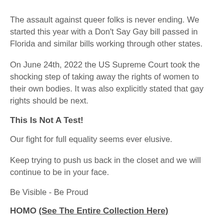The assault against queer folks is never ending. We started this year with a Don't Say Gay bill passed in Florida and similar bills working through other states.
On June 24th, 2022 the US Supreme Court took the shocking step of taking away the rights of women to their own bodies. It was also explicitly stated that gay rights should be next.
This Is Not A Test!
Our fight for full equality seems ever elusive.
Keep trying to push us back in the closet and we will continue to be in your face.
Be Visible - Be Proud
HOMO (See The Entire Collection Here)
Here is your chance to show the world your Proud